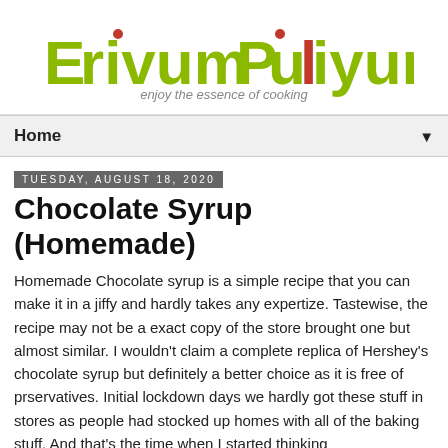[Figure (logo): Erivum Puliyum blog logo with green text and red chili accent, tagline 'enjoy the essence of cooking']
Home ▼
Tuesday, August 18, 2020
Chocolate Syrup (Homemade)
Homemade Chocolate syrup is a simple recipe that you can make it in a jiffy and hardly takes any expertize. Tastewise, the recipe may not be a exact copy of the store brought one but almost similar. I wouldn't claim a complete replica of Hershey's chocolate syrup but definitely a better choice as it is free of prservatives. Initial lockdown days we hardly got these stuff in stores as people had stocked up homes with all of the baking stuff. And that's the time when I started thinking...